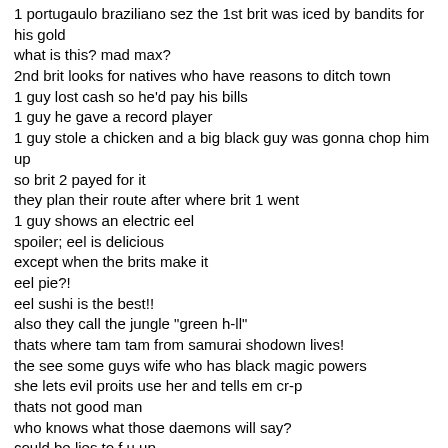1 portugaulo braziliano sez the 1st brit was iced by bandits for his gold
what is this? mad max?
2nd brit looks for natives who have reasons to ditch town
1 guy lost cash so he'd pay his bills
1 guy he gave a record player
1 guy stole a chicken and a big black guy was gonna chop him up
so brit 2 payed for it
they plan their route after where brit 1 went
1 guy shows an electric eel
spoiler; eel is delicious
except when the brits make it
eel pie?!
eel sushi is the best!!
also they call the jungle "green h-ll"
thats where tam tam from samurai shodown lives!
the see some guys wife who has black magic powers
she lets evil proits use her and tells em cr-p
thats not good man
who knows what those daemons will say?
could be lies to f u up